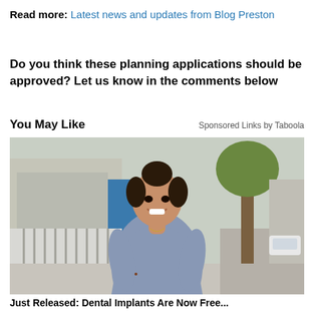Read more: Latest news and updates from Blog Preston
Do you think these planning applications should be approved? Let us know in the comments below
You May Like
Sponsored Links by Taboola
[Figure (photo): A woman with dark hair tied up, wearing a fitted grey/blue short-sleeve dress, smiling, standing outdoors on a sidewalk with a tree, fence and buildings in the background.]
Just Released: Dental Implants Are Now Free...